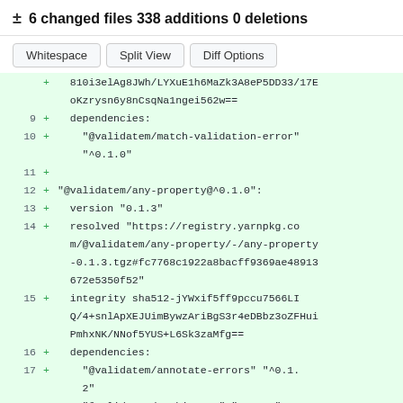± 6 changed files 338 additions 0 deletions
Whitespace | Split View | Diff Options
[Figure (screenshot): Git diff view showing added lines 9-17+ of a yarn.lock file with package entries for @validatem/match-validation-error and @validatem/any-property]